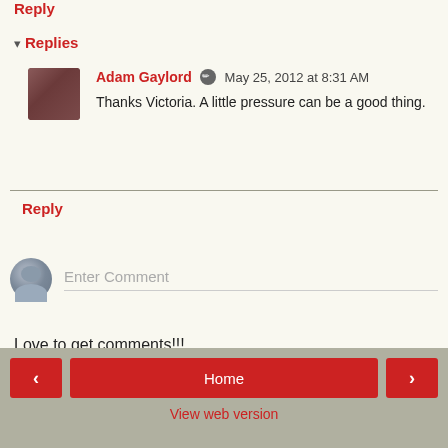Reply
▾ Replies
Adam Gaylord  May 25, 2012 at 8:31 AM
Thanks Victoria. A little pressure can be a good thing.
Reply
Enter Comment
Love to get comments!!!
< Home > View web version